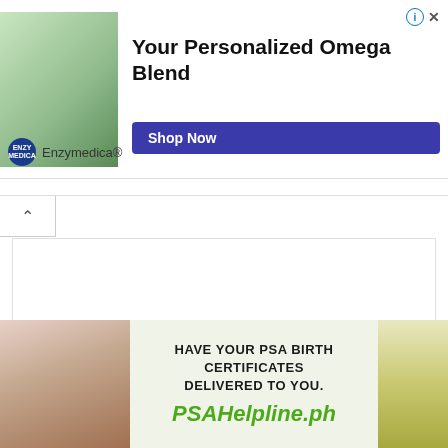[Figure (illustration): Advertisement banner showing a hand holding a supplement bottle against a green plant background]
Your Personalized Omega Blend
Shop Now
Enzymedica®
[Figure (illustration): Advertisement with collapse button showing blockchain analytics content]
Are you ready for 6AMLD?
Leaders in Blockchain Analytics for Compliance
[Figure (illustration): Bottom advertisement for PSAHelpline.ph showing PSA birth certificate delivery service]